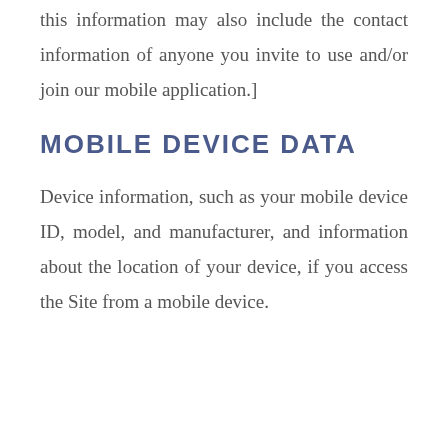this information may also include the contact information of anyone you invite to use and/or join our mobile application.]
MOBILE DEVICE DATA
Device information, such as your mobile device ID, model, and manufacturer, and information about the location of your device, if you access the Site from a mobile device.